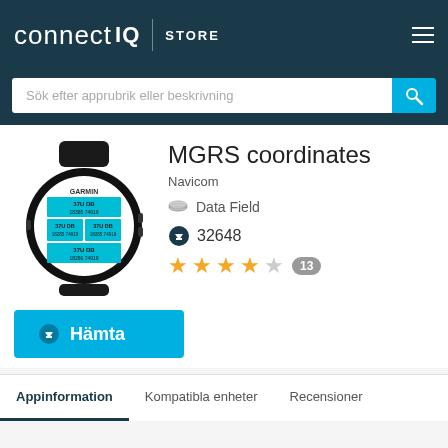[Figure (screenshot): Connect IQ Store header logo with navigation menu icon]
Sök efter apprubrik eller beskrivning
[Figure (photo): Garmin smartwatch displaying MGRS coordinates app]
MGRS coordinates
Navicom
Data Field
32648
13
Hämta
Appinformation
Kompatibla enheter
Recensioner